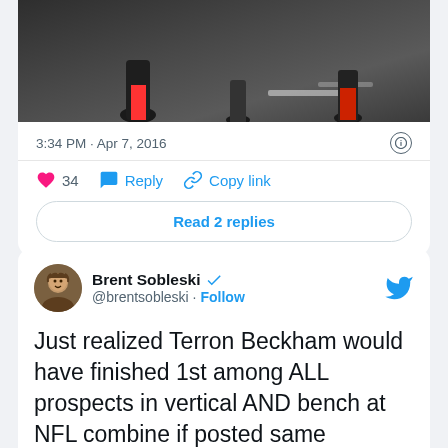[Figure (photo): Cropped photo of athletes on a sports field, showing lower bodies/legs]
3:34 PM · Apr 7, 2016
34  Reply  Copy link
Read 2 replies
Brent Sobleski @brentsobleski · Follow
Just realized Terron Beckham would have finished 1st among ALL prospects in vertical AND bench at NFL combine if posted same numbers there
5:56 PM · Apr 7, 2016
1  Reply  Copy link